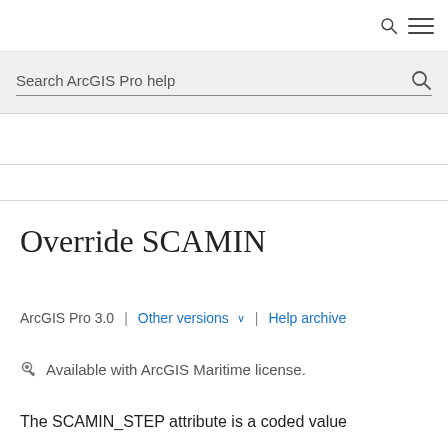Search ArcGIS Pro help
Override SCAMIN
ArcGIS Pro 3.0 | Other versions ˅ | Help archive
Available with ArcGIS Maritime license.
The SCAMIN_STEP attribute is a coded value